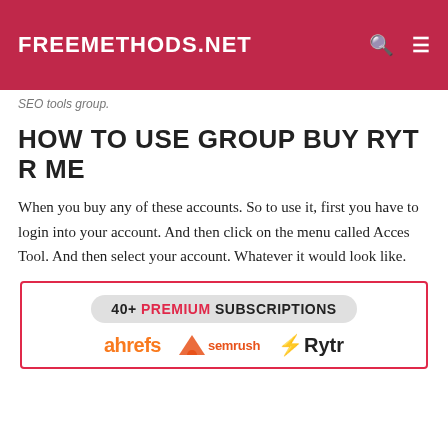FREEMETHODS.NET
SEO tools group.
HOW TO USE GROUP BUY RYTR ME
When you buy any of these accounts. So to use it, first you have to login into your account. And then click on the menu called Acces Tool. And then select your account. Whatever it would look like.
[Figure (infographic): Promotional box with pink border showing '40+ PREMIUM SUBSCRIPTIONS' text and logos for ahrefs, semrush, and Rytr]